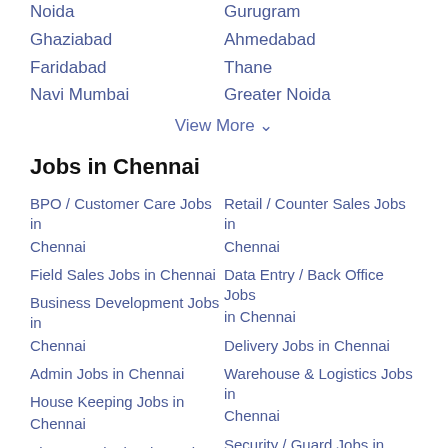Noida
Gurugram
Ghaziabad
Ahmedabad
Faridabad
Thane
Navi Mumbai
Greater Noida
View More ∨
Jobs in Chennai
BPO / Customer Care Jobs in Chennai
Retail / Counter Sales Jobs in Chennai
Field Sales Jobs in Chennai
Data Entry / Back Office Jobs in Chennai
Business Development Jobs in Chennai
Delivery Jobs in Chennai
Admin Jobs in Chennai
Warehouse & Logistics Jobs in Chennai
House Keeping Jobs in Chennai
Security / Guard Jobs in Chennai
Finance Jobs in Chennai
Driver Jobs in Chennai